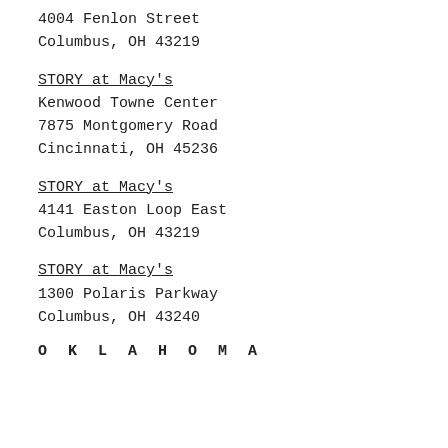4004 Fenlon Street
Columbus, OH 43219
STORY at Macy's
Kenwood Towne Center
7875 Montgomery Road
Cincinnati, OH 45236
STORY at Macy's
4141 Easton Loop East
Columbus, OH 43219
STORY at Macy's
1300 Polaris Parkway
Columbus, OH 43240
OKLAHOMA